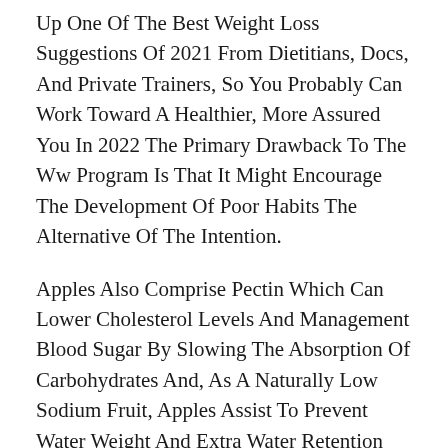Up One Of The Best Weight Loss Suggestions Of 2021 From Dietitians, Docs, And Private Trainers, So You Probably Can Work Toward A Healthier, More Assured You In 2022 The Primary Drawback To The Ww Program Is That It Might Encourage The Development Of Poor Habits The Alternative Of The Intention.
Apples Also Comprise Pectin Which Can Lower Cholesterol Levels And Management Blood Sugar By Slowing The Absorption Of Carbohydrates And, As A Naturally Low Sodium Fruit, Apples Assist To Prevent Water Weight And Extra Water Retention No Doubt, Most Accomplished Dieters Mix Both Food Regimen And Train To Lose Weight It Keto Diet Theory S Merely Means That They Could Be Devour 250 Fewer Energy Per Day And Then Forward To A 60 Minute Brisk Walk To Burn A